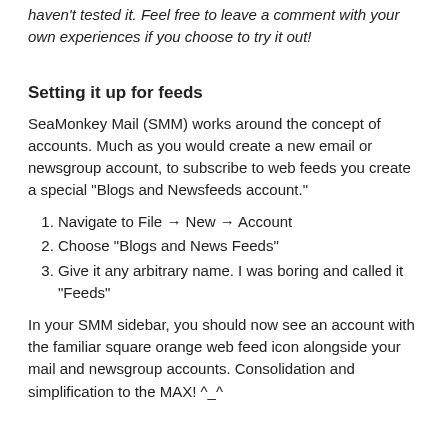haven't tested it. Feel free to leave a comment with your own experiences if you choose to try it out!
Setting it up for feeds
SeaMonkey Mail (SMM) works around the concept of accounts. Much as you would create a new email or newsgroup account, to subscribe to web feeds you create a special "Blogs and Newsfeeds account."
Navigate to File → New → Account
Choose "Blogs and News Feeds"
Give it any arbitrary name. I was boring and called it "Feeds"
In your SMM sidebar, you should now see an account with the familiar square orange web feed icon alongside your mail and newsgroup accounts. Consolidation and simplification to the MAX! ^_^